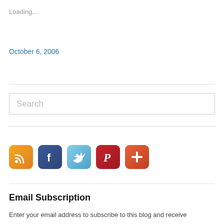Loading...
October 6, 2006
[Figure (other): Search input box with placeholder text 'Search']
[Figure (other): Row of social media icons: RSS (orange), Facebook (blue), Twitter (light blue), Pinterest (red), Add/Plus (orange-red)]
Email Subscription
Enter your email address to subscribe to this blog and receive